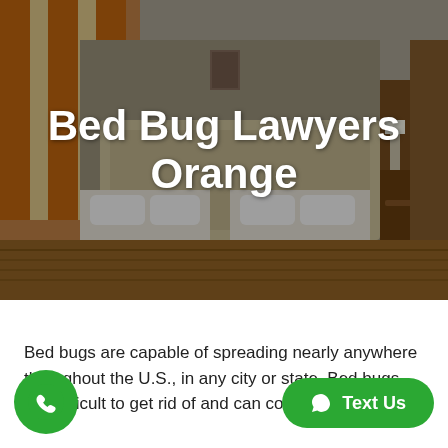[Figure (photo): Hotel room with two beds, orange bedskirts, wooden floor, orange curtains, dimly lit]
Bed Bug Lawyers Orange
Bed bugs are capable of spreading nearly anywhere throughout the U.S., in any city or state. Bed bugs are difficult to get rid of and can cost thousands in...